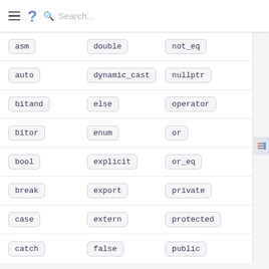Search...
| asm | double | not_eq |
| auto | dynamic_cast | nullptr |
| bitand | else | operator |
| bitor | enum | or |
| bool | explicit | or_eq |
| break | export | private |
| case | extern | protected |
| catch | false | public |